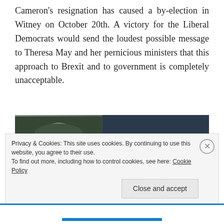Cameron's resignation has caused a by-election in Witney on October 20th. A victory for the Liberal Democrats would send the loudest possible message to Theresa May and her pernicious ministers that this approach to Brexit and to government is completely unacceptable.
[Figure (photo): A sepia-toned photo of a man's face on the left side, with white text overlay on dark background reading: 'Our fight for an open, optimistic, hopeful, diverse and tolerant Britain is needed now']
Privacy & Cookies: This site uses cookies. By continuing to use this website, you agree to their use.
To find out more, including how to control cookies, see here: Cookie Policy
Close and accept